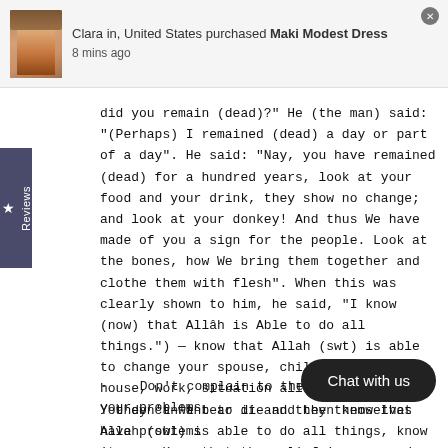Clara in, United States purchased Maki Modest Dress
8 mins ago
did you remain (dead)?" He (the man) said: "(Perhaps) I remained (dead) a day or part of a day". He said: "Nay, you have remained (dead) for a hundred years, look at your food and your drink, they show no change; and look at your donkey! And thus We have made of you a sign for the people. Look at the bones, how We bring them together and clothe them with flesh". When this was clearly shown to him, he said, "I know (now) that Allâh is Able to do all things.") — know that Allah (swt) is able to change your spouse, children, maids, house, work, situation all for the better. You don't want to die and then know that Allah (swt) is able to do all things, know it now. Know that the relief is near and that Allah (swt) will solve your problems. But w... being poor and broken to Allah (sw...
Don't complain to the people about your problems
they can't bear it and they themselves have problems